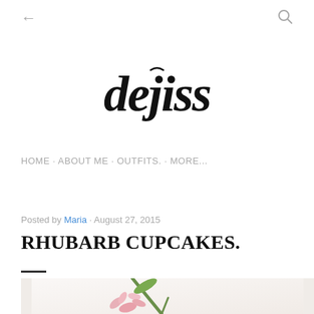← (back) | (search icon)
[Figure (logo): Handwritten script logo reading 'dejiss' or similar cursive brand name in black ink on white background]
HOME · ABOUT ME · OUTFITS. · MORE...
Posted by Maria · August 27, 2015
RHUBARB CUPCAKES.
[Figure (photo): A pink carnation flower lying on a white fabric background, partially cropped at bottom of page]